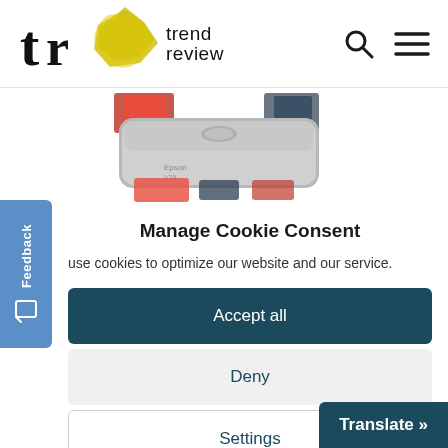[Figure (logo): Trend Review logo with yellow star graphic and hamburger/search icons in header]
[Figure (photo): Product image showing a grey flatbed scanner (Epson) partially visible]
Manage Cookie Consent
use cookies to optimize our website and our service.
Accept all
Deny
Settings
Translate »